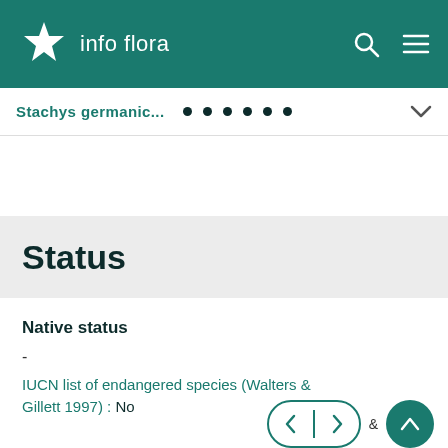info flora
Stachys germanic...
Status
Native status
-
IUCN list of endangered species (Walters & Gillett 1997) : No